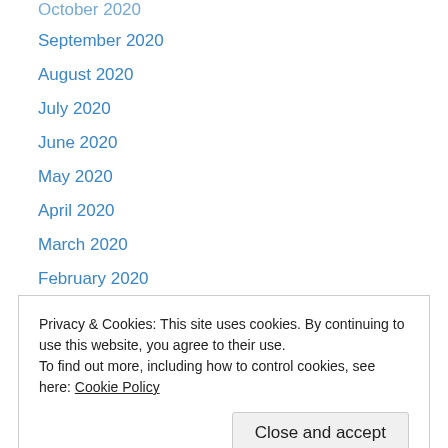October 2020
September 2020
August 2020
July 2020
June 2020
May 2020
April 2020
March 2020
February 2020
January 2020
December 2019
November 2019
October 2019
September 2019
March 2019
Privacy & Cookies: This site uses cookies. By continuing to use this website, you agree to their use. To find out more, including how to control cookies, see here: Cookie Policy